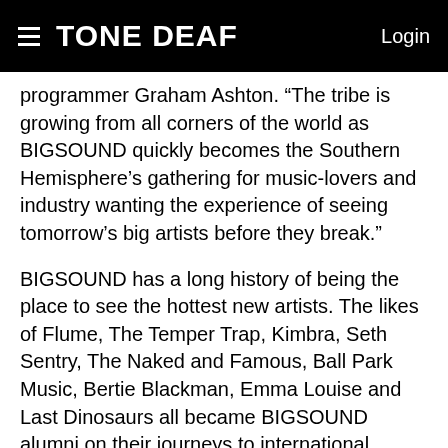TONE DEAF   Login
programmer Graham Ashton. “The tribe is growing from all corners of the world as BIGSOUND quickly becomes the Southern Hemisphere’s gathering for music-lovers and industry wanting the experience of seeing tomorrow’s big artists before they break.”
BIGSOUND has a long history of being the place to see the hottest new artists. The likes of Flume, The Temper Trap, Kimbra, Seth Sentry, The Naked and Famous, Ball Park Music, Bertie Blackman, Emma Louise and Last Dinosaurs all became BIGSOUND alumni on their journeys to international success.
Minister for Tourism, Major Events, Small Business and the Commonwealth Games Jann Stuckey said BIGSOUND was supported by Tourism and Events Queensland for a second consecutive year.